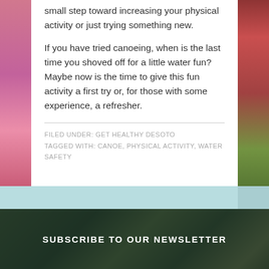small step toward increasing your physical activity or just trying something new.
If you have tried canoeing, when is the last time you shoved off for a little water fun? Maybe now is the time to give this fun activity a first try or, for those with some experience, a refresher.
FILED UNDER: GET HEALTHY DESOTO
TAGGED WITH: CANOE, PHYSICAL ACTIVITY, WATER SAFETY
SUBSCRIBE TO OUR NEWSLETTER